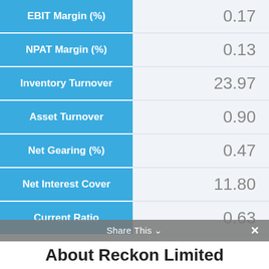| Metric | Value |
| --- | --- |
| EBIT Margin (%) | 0.17 |
| NPAT Margin (%) | 0.13 |
| Inventory Turnover | 23.97 |
| Asset Turnover | 0.90 |
| Net Gearing (%) | 0.47 |
| Net Interest Cover | 11.80 |
| Current Ratio | 0.63 |
Share This
About Reckon Limited